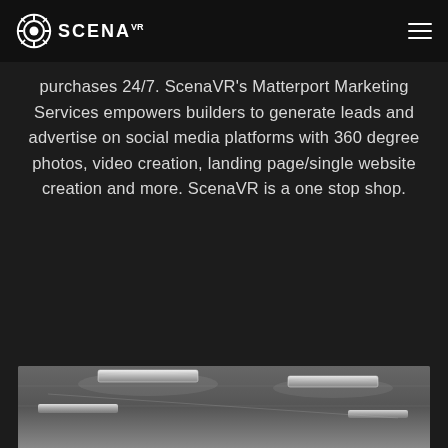ScenaVR logo and navigation header
purchases 24/7. ScenaVR's Matterport Marketing Services empowers builders to generate leads and advertise on social media platforms with 360 degree photos, video creation, landing page/single website creation and more. ScenaVR is a one stop shop.
[Figure (photo): Interior ceiling photo showing recessed lighting fixtures and ceiling panels, partially visible at the bottom of the page]